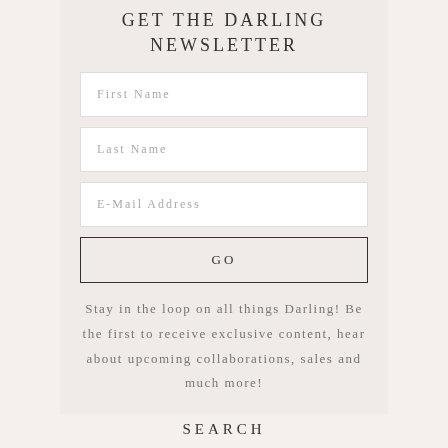GET THE DARLING NEWSLETTER
First Name
Last Name
E-Mail Address
GO
Stay in the loop on all things Darling! Be the first to receive exclusive content, hear about upcoming collaborations, sales and much more!
SEARCH